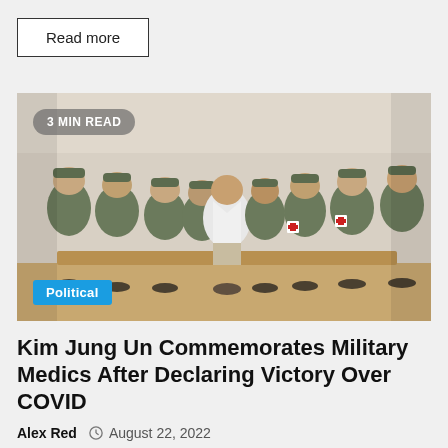Read more
[Figure (photo): Group photo of Kim Jong Un in a white lab coat seated in the center surrounded by military soldiers in camouflage uniforms, some with red cross medical armbands, seated on a bench in an indoor setting. Badge overlay: '3 MIN READ'. Badge overlay: 'Political'.]
Kim Jung Un Commemorates Military Medics After Declaring Victory Over COVID
Alex Red   August 22, 2022